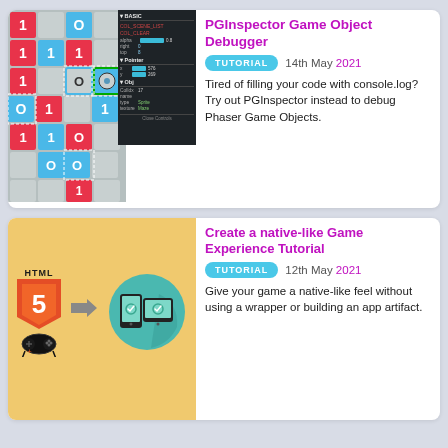[Figure (screenshot): Game scene with checkerboard tiles showing 0s and 1s in red and blue, alongside a dark inspector/debugger panel (PGInspector) showing properties like alpha, right, top, pointer x/y, Obj, ColIdx, name, type.]
PGInspector Game Object Debugger
TUTORIAL   14th May 2021
Tired of filling your code with console.log? Try out PGInspector instead to debug Phaser Game Objects.
[Figure (illustration): HTML5 logo with shield and number 5, a gamepad icon below it, an arrow pointing right, and a teal circle containing icons of a smartphone and tablet with checkmarks.]
Create a native-like Game Experience Tutorial
TUTORIAL   12th May 2021
Give your game a native-like feel without using a wrapper or building an app artifact.